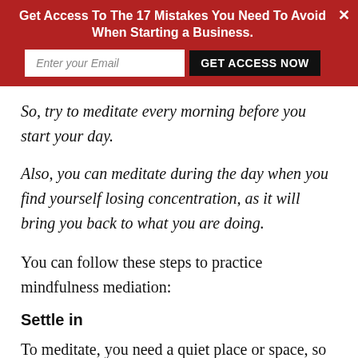[Figure (screenshot): Red banner overlay with title 'Get Access To The 17 Mistakes You Need To Avoid When Starting a Business.', an email input field, a 'GET ACCESS NOW' button, and a close X button.]
So, try to meditate every morning before you start your day.
Also, you can meditate during the day when you find yourself losing concentration, as it will bring you back to what you are doing.
You can follow these steps to practice mindfulness mediation:
Settle in
To meditate, you need a quiet place or space, so